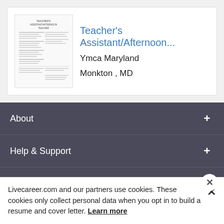[Figure (screenshot): Thumbnail preview of a resume document for Teacher's Assistant/Afternoon position]
Teacher's Assistant/Afternoon...
Ymca Maryland
Monkton , MD
About
Help & Support
Languages
Livecareer.com and our partners use cookies. These cookies only collect personal data when you opt in to build a resume and cover letter. Learn more